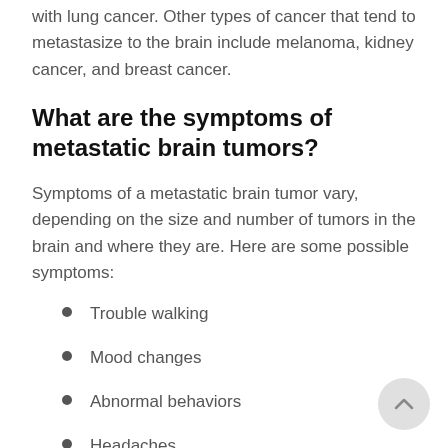with lung cancer. Other types of cancer that tend to metastasize to the brain include melanoma, kidney cancer, and breast cancer.
What are the symptoms of metastatic brain tumors?
Symptoms of a metastatic brain tumor vary, depending on the size and number of tumors in the brain and where they are. Here are some possible symptoms:
Trouble walking
Mood changes
Abnormal behaviors
Headaches
Changes in personality